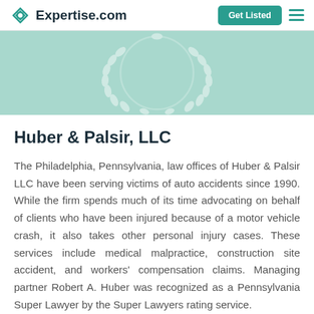Expertise.com | Get Listed
[Figure (illustration): Teal banner with a decorative white laurel wreath watermark circle in the center]
Huber & Palsir, LLC
The Philadelphia, Pennsylvania, law offices of Huber & Palsir LLC have been serving victims of auto accidents since 1990. While the firm spends much of its time advocating on behalf of clients who have been injured because of a motor vehicle crash, it also takes other personal injury cases. These services include medical malpractice, construction site accident, and workers' compensation claims. Managing partner Robert A. Huber was recognized as a Pennsylvania Super Lawyer by the Super Lawyers rating service.